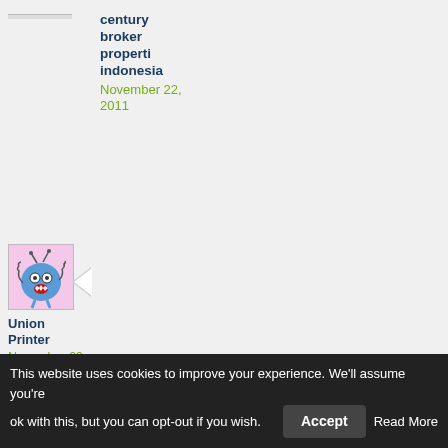century broker properti indonesia
November 22, 2011
[Figure (illustration): Cartoon blue monster character with antennae, tentacle-like arms, white eyes, and red star-shaped mouth on a pink background]
Union Printer
November 29, 2011
This is an excellent tutorial for Typepad blogs. I have this platform but haven't had a chance to customise bit..Thank for this.
This website uses cookies to improve your experience. We'll assume you're ok with this, but you can opt-out if you wish. Accept Read More